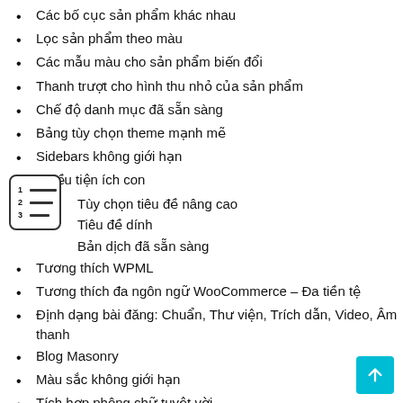Các bố cục sản phẩm khác nhau
Lọc sản phẩm theo màu
Các mẫu màu cho sản phẩm biến đổi
Thanh trượt cho hình thu nhỏ của sản phẩm
Chế độ danh mục đã sẵn sàng
Bảng tùy chọn theme mạnh mẽ
Sidebars không giới hạn
Nhiều tiện ích con
Tùy chọn tiêu đề nâng cao
Tiêu đề dính
Bản dịch đã sẵn sàng
Tương thích WPML
Tương thích đa ngôn ngữ WooCommerce – Đa tiền tệ
Định dạng bài đăng: Chuẩn, Thư viện, Trích dẫn, Video, Âm thanh
Blog Masonry
Màu sắc không giới hạn
Tích hợp phông chữ tuyệt vời
Danh sách mong muốn, So sánh Hỗ trợ